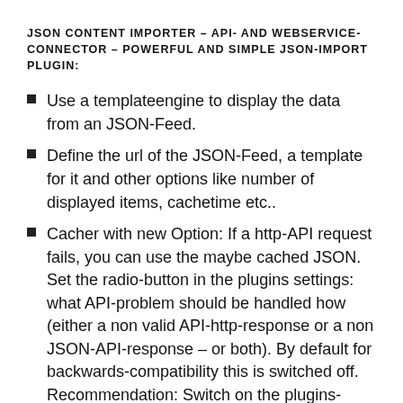JSON CONTENT IMPORTER – API- AND WEBSERVICE-CONNECTOR – POWERFUL AND SIMPLE JSON-IMPORT PLUGIN:
Use a templateengine to display the data from an JSON-Feed.
Define the url of the JSON-Feed, a template for it and other options like number of displayed items, cachetime etc..
Cacher with new Option: If a http-API request fails, you can use the maybe cached JSON. Set the radio-button in the plugins settings: what API-problem should be handled how (either a non valid API-http-response or a non JSON-API-response – or both). By default for backwards-compatibility this is switched off. Recommendation: Switch on the plugins-cacher (e. g. some minutes) and select the radiobutton for "If the API-http-answercode is not 200 OR